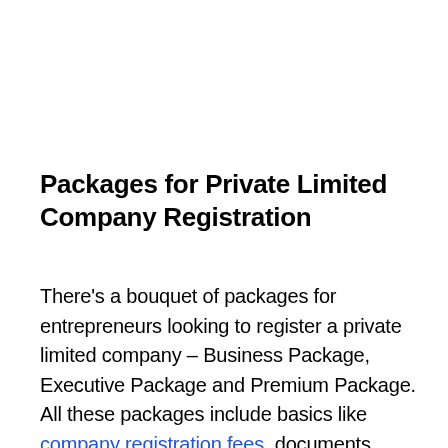Packages for Private Limited Company Registration
There's a bouquet of packages for entrepreneurs looking to register a private limited company – Business Package, Executive Package and Premium Package. All these packages include basics like company registration fees, documents drafting, PAN/TAN, etc. Executive and Premium also include additional services like Trademark...